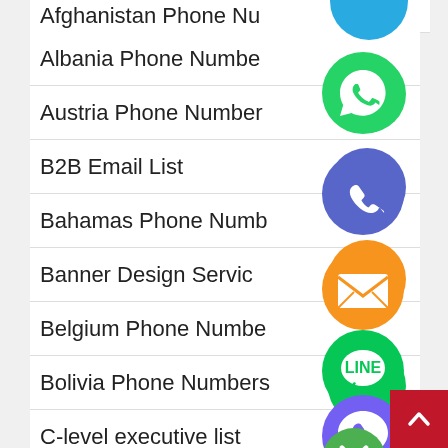Afghanistan Phone Nu…
Albania Phone Number
Austria Phone Number
B2B Email List
Bahamas Phone Numb…
Banner Design Servic…
Belgium Phone Number
Bolivia Phone Numbers
C-level executive list
[Figure (illustration): Floating social media and messaging app icons (WhatsApp green, Phone blue-purple, Email orange, LINE green, Viber purple, close/X green, and a blue circle) overlaid on the list]
[Figure (illustration): Red scroll-to-top button with upward chevron arrow in bottom right corner]